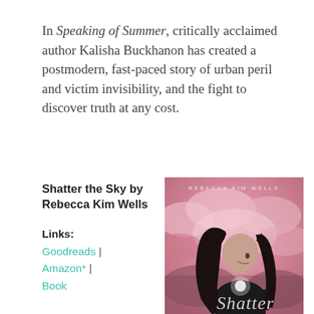In Speaking of Summer, critically acclaimed author Kalisha Buckhanon has created a postmodern, fast-paced story of urban peril and victim invisibility, and the fight to discover truth at any cost.
Shatter the Sky by Rebecca Kim Wells
Links: Goodreads | Amazon* | Book
[Figure (illustration): Book cover of 'Shatter the Sky' by Rebecca Kim Wells. Features a young woman with long dark hair against a pink cloudy sky background. The author name 'REBECCA KIM WELLS' is at the top in spaced capital letters, and 'Shatter' appears in large script at the bottom.]